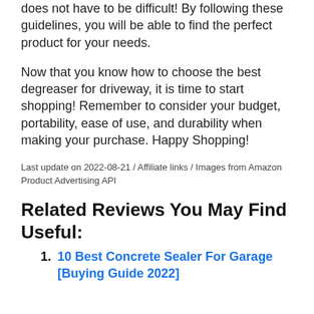does not have to be difficult! By following these guidelines, you will be able to find the perfect product for your needs.
Now that you know how to choose the best degreaser for driveway, it is time to start shopping! Remember to consider your budget, portability, ease of use, and durability when making your purchase. Happy Shopping!
Last update on 2022-08-21 / Affiliate links / Images from Amazon Product Advertising API
Related Reviews You May Find Useful:
10 Best Concrete Sealer For Garage [Buying Guide 2022]